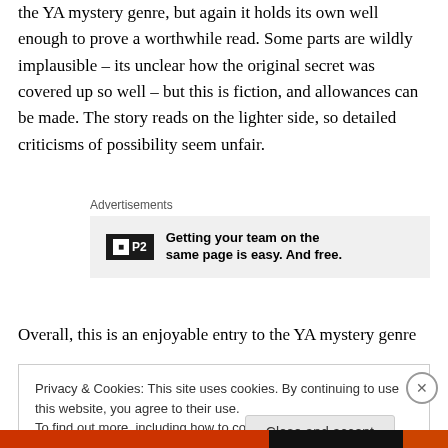the YA mystery genre, but again it holds its own well enough to prove a worthwhile read. Some parts are wildly implausible – its unclear how the original secret was covered up so well – but this is fiction, and allowances can be made. The story reads on the lighter side, so detailed criticisms of possibility seem unfair.
[Figure (infographic): Advertisement block: P2 logo with text 'Getting your team on the same page is easy. And free.']
Overall, this is an enjoyable entry to the YA mystery genre
Privacy & Cookies: This site uses cookies. By continuing to use this website, you agree to their use. To find out more, including how to control cookies, see here: Cookie Policy
Close and accept